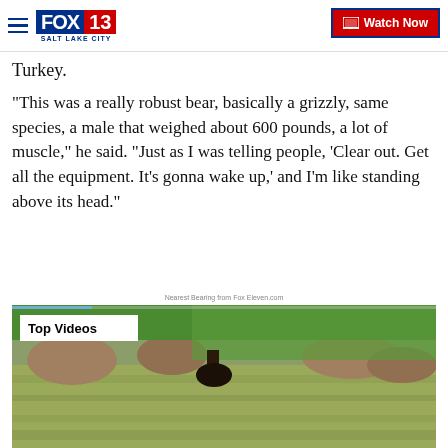FOX 13 SALT LAKE CITY — Watch Now
Turkey.
"This was a really robust bear, basically a grizzly, same species, a male that weighed about 600 pounds, a lot of muscle," he said. "Just as I was telling people, ‘Clear out. Get all the equipment. It's gonna wake up,’ and I'm like standing above its head."
Nearest Bearing from Fox Eleven.com
[Figure (screenshot): Video player showing a bear in a rocky river stream, with a 'Top Videos' label overlay in the upper left corner.]